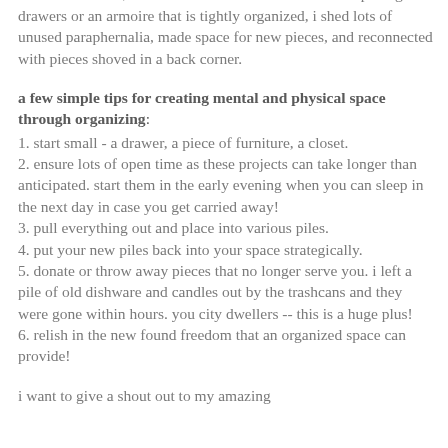embroidered linens from gramma). sure these two projects took a total of six hours, but the rewards are HUGE. besides opening drawers or an armoire that is tightly organized, i shed lots of unused paraphernalia, made space for new pieces, and reconnected with pieces shoved in a back corner.
a few simple tips for creating mental and physical space through organizing:
1. start small - a drawer, a piece of furniture, a closet.
2. ensure lots of open time as these projects can take longer than anticipated. start them in the early evening when you can sleep in the next day in case you get carried away!
3. pull everything out and place into various piles.
4. put your new piles back into your space strategically.
5. donate or throw away pieces that no longer serve you. i left a pile of old dishware and candles out by the trashcans and they were gone within hours. you city dwellers -- this is a huge plus!
6. relish in the new found freedom that an organized space can provide!
i want to give a shout out to my amazing